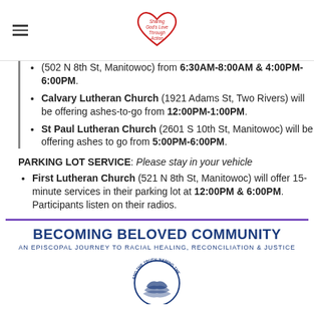Sharing God's Love Through Action logo
(502 N 8th St, Manitowoc) from 6:30AM-8:00AM & 4:00PM-6:00PM.
Calvary Lutheran Church (1921 Adams St, Two Rivers) will be offering ashes-to-go from 12:00PM-1:00PM.
St Paul Lutheran Church (2601 S 10th St, Manitowoc) will be offering ashes to go from 5:00PM-6:00PM.
PARKING LOT SERVICE: Please stay in your vehicle
First Lutheran Church (521 N 8th St, Manitowoc) will offer 15-minute services in their parking lot at 12:00PM & 6:00PM. Participants listen on their radios.
[Figure (logo): Becoming Beloved Community logo - An Episcopal Journey to Racial Healing, Reconciliation & Justice]
BECOMING BELOVED COMMUNITY
AN EPISCOPAL JOURNEY TO RACIAL HEALING, RECONCILIATION & JUSTICE